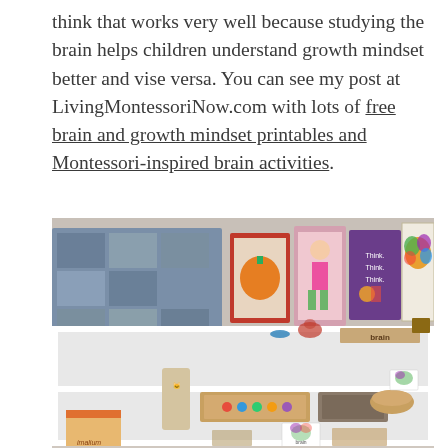think that works very well because studying the brain helps children understand growth mindset better and vise versa. You can see my post at LivingMontessoriNow.com with lots of free brain and growth mindset printables and Montessori-inspired brain activities.
[Figure (photo): Photograph of a Montessori shelf display with books about the brain and growth mindset (including 'Think Think Think'), brain anatomy posters, puzzles, and various Montessori learning materials arranged on a white bookshelf.]